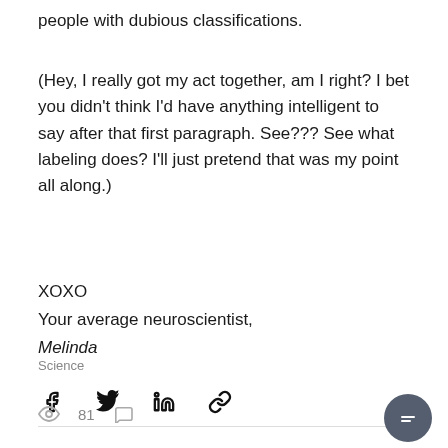people with dubious classifications.
(Hey, I really got my act together, am I right? I bet you didn't think I'd have anything intelligent to say after that first paragraph. See??? See what labeling does? I'll just pretend that was my point all along.)
XOXO
Your average neuroscientist,
Melinda
Science
[Figure (other): Social share icons: Facebook, Twitter, LinkedIn, Link]
[Figure (other): Stats row: 81 views, comment icon. Chat button bottom right.]